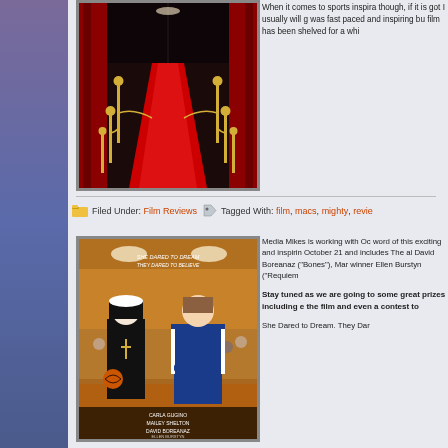[Figure (photo): Movie theater red carpet entrance with gold stanchions and red velvet ropes leading to dark entrance, red curtains on sides]
When it comes to sports inspira though, if it is got I usually will g was fast paced and inspiring bu film has been shelved for a whi
Filed Under: Film Reviews   Tagged With: film, macs, mighty, revie
[Figure (photo): Movie poster showing a nun and a female coach standing in a gymnasium with children in background. Cast names: Carla Gugino, Mailey Shelton, David Boreanaz, Ellen Burstyn]
Media Mikes is working with Oc word of this exciting and inspirin October 21 and includes The al David Boreanaz ("Bones"), Mar winner Ellen Burstyn ("Requiem
Stay tuned as we are going to some great prizes including e the film and even a contest to
She Dared to Dream. They Dar